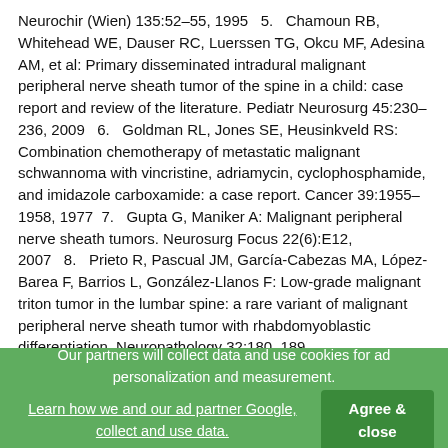Neurochir (Wien) 135:52–55, 1995   5.   Chamoun RB, Whitehead WE, Dauser RC, Luerssen TG, Okcu MF, Adesina AM, et al: Primary disseminated intradural malignant peripheral nerve sheath tumor of the spine in a child: case report and review of the literature. Pediatr Neurosurg 45:230–236, 2009   6.   Goldman RL, Jones SE, Heusinkveld RS: Combination chemotherapy of metastatic malignant schwannoma with vincristine, adriamycin, cyclophosphamide, and imidazole carboxamide: a case report. Cancer 39:1955–1958, 1977   7.   Gupta G, Maniker A: Malignant peripheral nerve sheath tumors. Neurosurg Focus 22(6):E12, 2007   8.   Prieto R, Pascual JM, García-Cabezas MA, López-Barea F, Barrios L, González-Llanos F: Low-grade malignant triton tumor in the lumbar spine: a rare variant of malignant peripheral nerve sheath tumor with rhabdomyoblastic differentiation. Neuropathology 32:180–189, 2012   9.   Seppälä MT, Haltia MJ: Spinal malignant nerve-sheath tumor or cellular schwannoma? A striking difference in prognosis. J Neurosurg 79:528–532, 1993  10.   Sheikh OA, Reaves A, Kralick FA, Brooks A, Musial RE, Gasperino J: Malignant nerve sheath tumor of the
Our partners will collect data and use cookies for ad personalization and measurement. Learn how we and our ad partner Google, collect and use data.   Agree & close